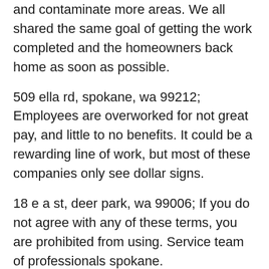and contaminate more areas. We all shared the same goal of getting the work completed and the homeowners back home as soon as possible.
509 ella rd, spokane, wa 99212; Employees are overworked for not great pay, and little to no benefits. It could be a rewarding line of work, but most of these companies only see dollar signs.
18 e a st, deer park, wa 99006; If you do not agree with any of these terms, you are prohibited from using. Service team of professionals spokane.
Service team of professionals spokane. Our team of professional, trained and experienced restoration experts will reach your location immediately, thoroughly assess the situation and devise an action plan to rectify the damage,